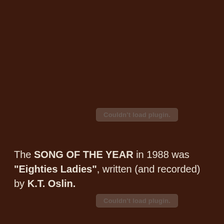[Figure (other): Plugin placeholder box reading 'Couldn't load plugin.']
The SONG OF THE YEAR in 1988 was "Eighties Ladies", written (and recorded) by K.T. Oslin.
[Figure (other): Plugin placeholder box reading 'Couldn't load plugin.']